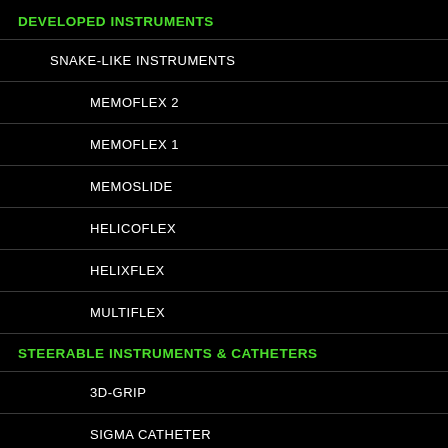DEVELOPED INSTRUMENTS
SNAKE-LIKE INSTRUMENTS
MEMOFLEX 2
MEMOFLEX 1
MEMOSLIDE
HELICOFLEX
HELIXFLEX
MULTIFLEX
STEERABLE INSTRUMENTS & CATHETERS
3D-GRIP
SIGMA CATHETER
ACCURA